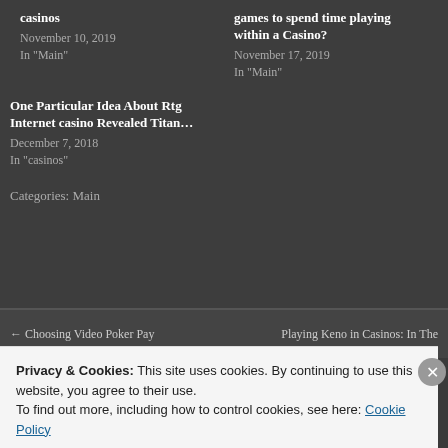casinos
November 10, 2019
In "Main"
games to spend time playing within a Casino?
November 17, 2019
In "Main"
One Particular Idea About Rtg Internet casino Revealed Titan…
December 7, 2018
In "casinos"
Categories: Main
← Choosing Video Poker Pay
Playing Keno in Casinos: In The
Privacy & Cookies: This site uses cookies. By continuing to use this website, you agree to their use.
To find out more, including how to control cookies, see here: Cookie Policy
Close and accept